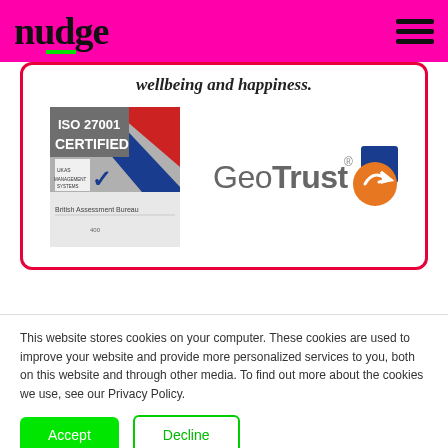nudge
wellbeing and happiness.
[Figure (logo): ISO 27001 Certified badge from British Assessment Bureau with UKAS Management Systems logo]
[Figure (logo): GeoTrust logo with blue square and orange arrow icon]
This website stores cookies on your computer. These cookies are used to improve your website and provide more personalized services to you, both on this website and through other media. To find out more about the cookies we use, see our Privacy Policy.
Accept
Decline